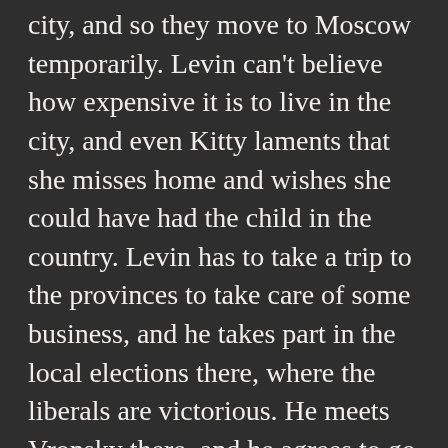city, and so they move to Moscow temporarily. Levin can't believe how expensive it is to live in the city, and even Kitty laments that she misses home and wishes she could have had the child in the country. Levin has to take a trip to the provinces to take care of some business, and he takes part in the local elections there, where the liberals are victorious. He meets Vronsky there, and he agrees to go with Stiva to see Anna, who enchants Levin with her charm and the portrait of her. And Levin's adoration only serves to make Anna more unhappy with Vronsky. When he returns and tells Kitty about his trip, she becomes jealous, worried that Anna has again stolen away her lover. Levin realizes that he has hurt her, and he tries to